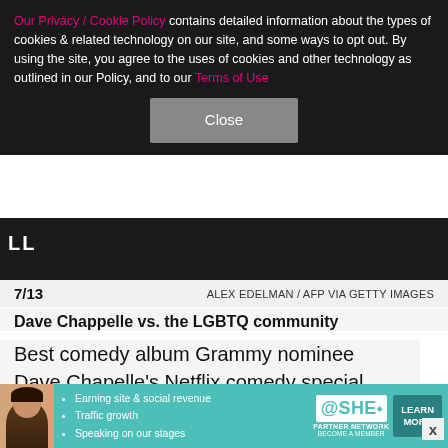Our Privacy / Cookie Policy contains detailed information about the types of cookies & related technology on our site, and some ways to opt out. By using the site, you agree to the uses of cookies and other technology as outlined in our Policy, and to our Terms of Use
Close
[Figure (photo): Dark background image strip with partial text visible]
7/13
ALEX EDELMAN / AFP VIA GETTY IMAGES
Dave Chappelle vs. the LGBTQ community
Best comedy album Grammy nominee Dave Chapelle's Netflix comedy special "Sticks & Stones" caused quite a stir among the LGBTQ community when it came out in August 2019, and rightfully so. On the special, the comedian made a plethora of comments about trans
[Figure (infographic): SHE Partner Network advertisement banner with avatar, bullet points about earning site & social revenue, traffic growth, speaking on stages, and a Learn More button]